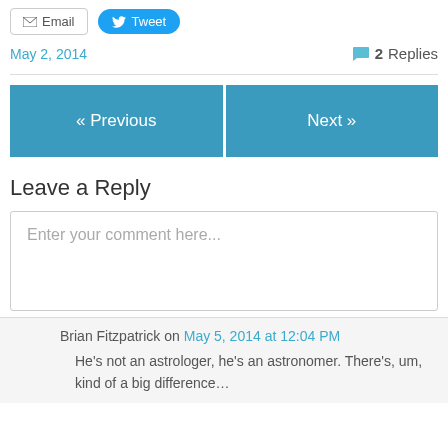[Figure (screenshot): Email button with envelope icon and Tweet button with Twitter bird icon]
May 2, 2014
2 Replies
« Previous
Next »
Leave a Reply
Enter your comment here...
Brian Fitzpatrick on May 5, 2014 at 12:04 PM
He's not an astrologer, he's an astronomer. There's, um, kind of a big difference…